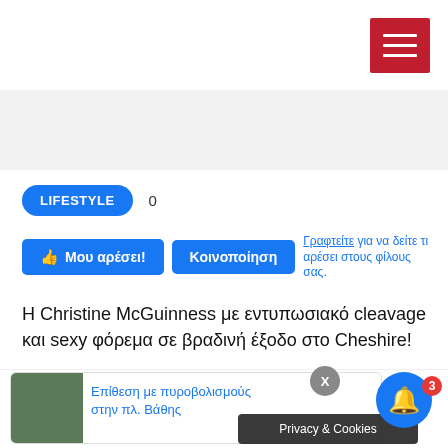LIFESTYLE   0
👍 Μου αρέσει!   Κοινοποίηση   Γραφτείτε για να δείτε τι αρέσει στους φίλους σας.
Η Christine McGuinness με εντυπωσιακό cleavage και sexy φόρεμα σε βραδινή έξοδο στο Cheshire!
Επίθεση με πυροβολισμούς στην πλ. Βάθης
Privacy & Cookies